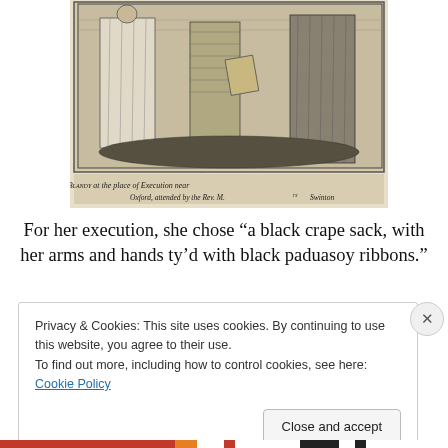[Figure (illustration): Historical engraving showing Miss Blandy at the place of Execution near Oxford, attended by the Rev. Mr. Swinton. Several figures in 18th century dress are depicted. Caption reads: 'Miss Blandy at the place of Execution near Oxford, attended by the Rev. Mr. Swinton.']
For her execution, she chose “a black crape sack, with her arms and hands ty’d with black paduasoy ribbons.”
Privacy & Cookies: This site uses cookies. By continuing to use this website, you agree to their use.
To find out more, including how to control cookies, see here: Cookie Policy